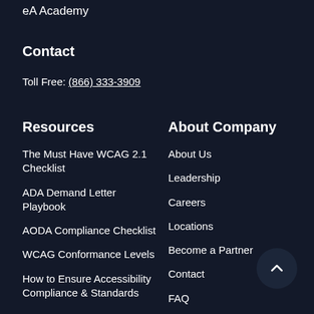eA Academy
Contact
Toll Free: (866) 333-3909
Resources
About Company
The Must Have WCAG 2.1 Checklist
About Us
ADA Demand Letter Playbook
Leadership
AODA Compliance Checklist
Careers
WCAG Conformance Levels
Locations
How to Ensure Accessibility Compliance & Standards
Become a Partner
Contact
FAQ